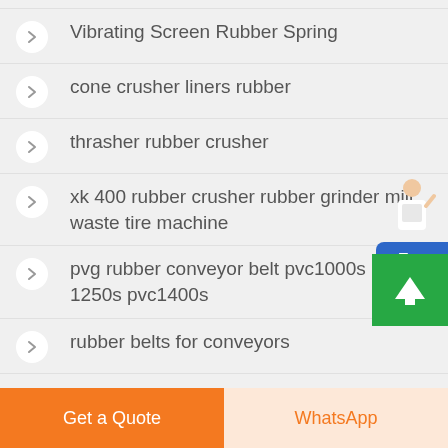Vibrating Screen Rubber Spring
cone crusher liners rubber
thrasher rubber crusher
xk 400 rubber crusher rubber grinder mill waste tire machine
pvg rubber conveyor belt pvc1000s pvc 1250s pvc1400s
rubber belts for conveyors
[Figure (illustration): Free chat widget with avatar figure and blue chat button]
[Figure (illustration): Green scroll-to-top button with upward arrow]
Get a Quote   WhatsApp